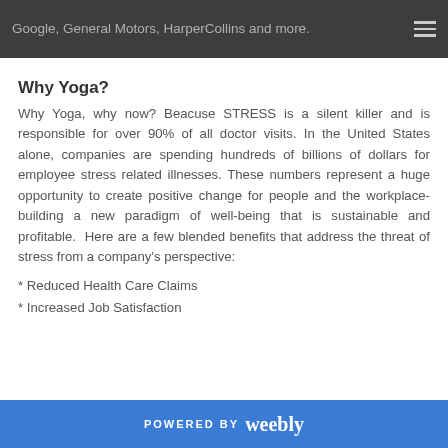Google, General Motors, HarperCollins and more.
Why Yoga?
Why Yoga, why now? Beacuse STRESS is a silent killer and is responsible for over 90% of all doctor visits. In the United States alone, companies are spending hundreds of billions of dollars for employee stress related illnesses. These numbers represent a huge opportunity to create positive change for people and the workplace-building a new paradigm of well-being that is sustainable and profitable. Here are a few blended benefits that address the threat of stress from a company's perspective:
* Reduced Health Care Claims
* Increased Job Satisfaction
POWERED BY weebly